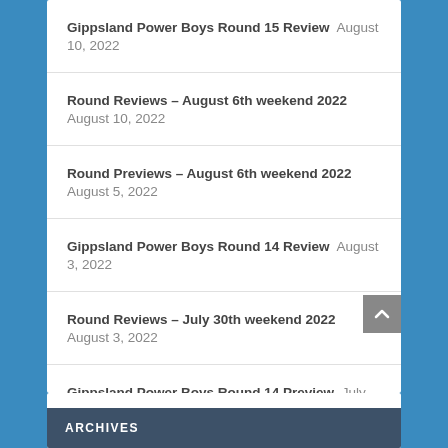Gippsland Power Boys Round 15 Review August 10, 2022
Round Reviews – August 6th weekend 2022 August 10, 2022
Round Previews – August 6th weekend 2022 August 5, 2022
Gippsland Power Boys Round 14 Review August 3, 2022
Round Reviews – July 30th weekend 2022 August 3, 2022
Gippsland Power Boys Round 14 Preview July 30, 2022
ARCHIVES